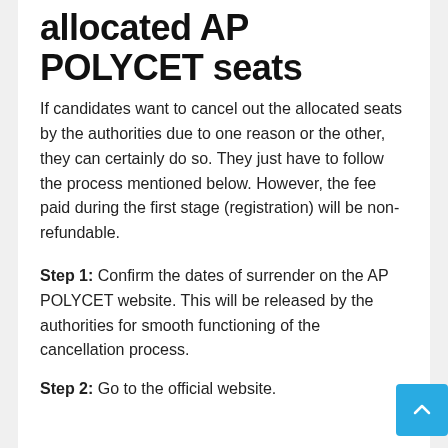allocated AP POLYCET seats
If candidates want to cancel out the allocated seats by the authorities due to one reason or the other, they can certainly do so. They just have to follow the process mentioned below. However, the fee paid during the first stage (registration) will be non-refundable.
Step 1: Confirm the dates of surrender on the AP POLYCET website. This will be released by the authorities for smooth functioning of the cancellation process.
Step 2: Go to the official website.